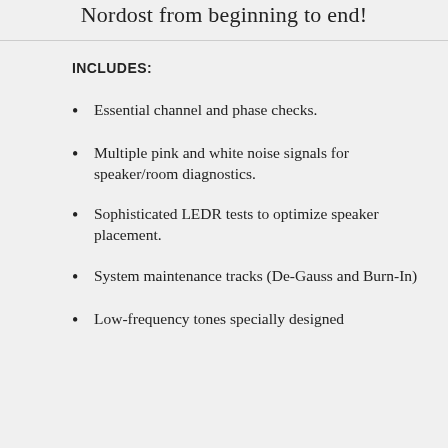Nordost from beginning to end!
INCLUDES:
Essential channel and phase checks.
Multiple pink and white noise signals for speaker/room diagnostics.
Sophisticated LEDR tests to optimize speaker placement.
System maintenance tracks (De-Gauss and Burn-In)
Low-frequency tones specially designed